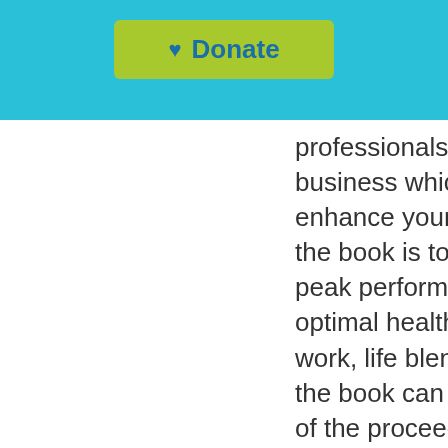[Figure (other): Cyan/teal header bar with a green Donate button containing a heart icon and the text Donate]
professionals across all sector of business which will help you enhance your life The objective of the book is to provide strategies for peak performance in business & optimal health in the new normal of work, life blend. Further detail on the book can be found here  100% of the proceeds goes to Cliona's Foundation Note: For multiple book purchases single flat shipping rate currently applies but actual postage cost will be confirmed to purchaser